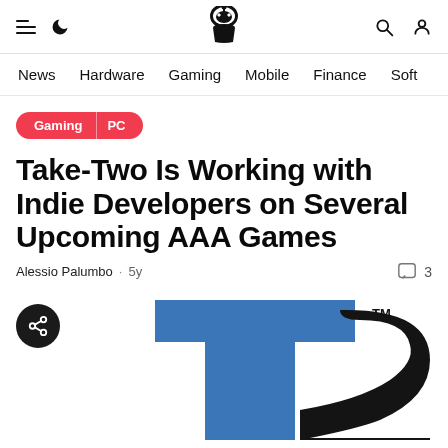Navigation bar with hamburger menu, moon icon, site logo, search icon, user icon
News | Hardware | Gaming | Mobile | Finance | Soft...
Gaming | PC
Take-Two Is Working with Indie Developers on Several Upcoming AAA Games
Alessio Palumbo · 5y  [comment icon] 3
[Figure (logo): Take-Two Interactive T2 logo with blue T and dark 2 with TM mark]